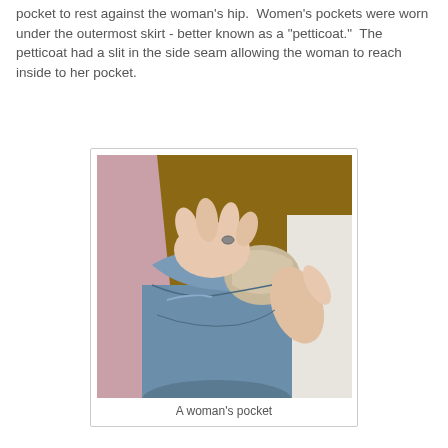pocket to rest against the woman's hip.  Women's pockets were worn under the outermost skirt - better known as a "petticoat."  The petticoat had a slit in the side seam allowing the woman to reach inside to her pocket.
[Figure (photo): A photograph showing a woman's hand reaching into a blue fabric pocket worn under a brown garment, with pink fabric visible on the left and white fabric on the right.]
A woman's pocket